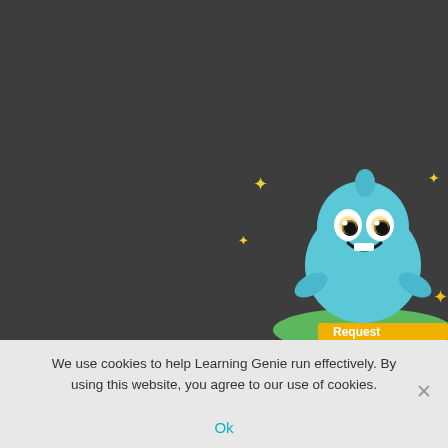Home
For Educators
For Parents
DRDP
Pricing
SUPPORT
Educator Resources
Help Center
FAQS
COMMUNITY
Educator Spotlight
Stories
[Figure (illustration): Cartoon blue alien/genie mascot character with sparkles, sitting on green ground, with partial 'Request' button visible at the bottom right corner]
We use cookies to help Learning Genie run effectively. By using this website, you agree to our use of cookies.
Ok